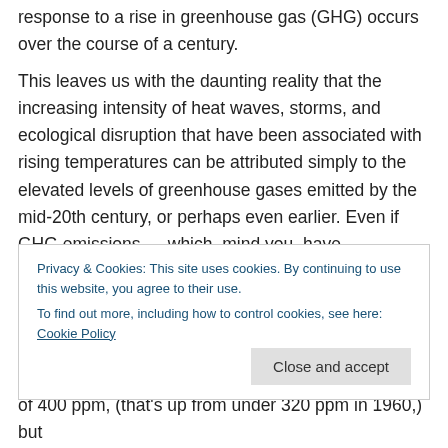response to a rise in greenhouse gas (GHG) occurs over the course of a century.
This leaves us with the daunting reality that the increasing intensity of heat waves, storms, and ecological disruption that have been associated with rising temperatures can be attributed simply to the elevated levels of greenhouse gases emitted by the mid-20th century, or perhaps even earlier. Even if GHG emissions — which, mind you, have
of 400 ppm, (that's up from under 320 ppm in 1960,) but